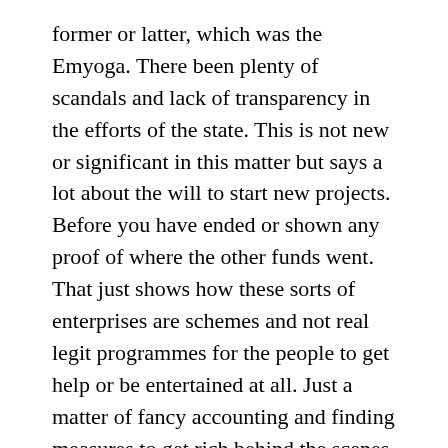former or latter, which was the Emyoga. There been plenty of scandals and lack of transparency in the efforts of the state. This is not new or significant in this matter but says a lot about the will to start new projects. Before you have ended or shown any proof of where the other funds went. That just shows how these sorts of enterprises are schemes and not real legit programmes for the people to get help or be entertained at all. Just a matter of fancy accounting and finding measures to get rich behind the scenes.
About Salim they say:
“At Kololo the same Museveni who has been praising